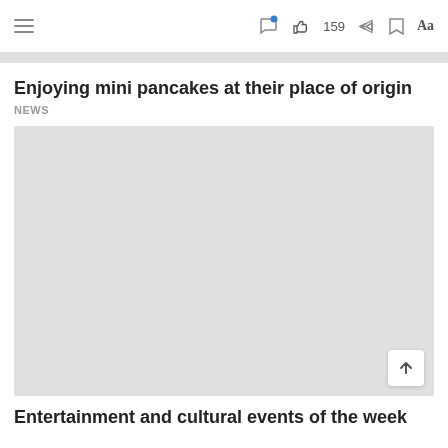≡  [comment icon] [like icon] 159 [share icon] [bookmark icon] Aa
Enjoying mini pancakes at their place of origin
NEWS
[Figure (photo): Large gray placeholder image for article about mini pancakes]
Entertainment and cultural events of the week